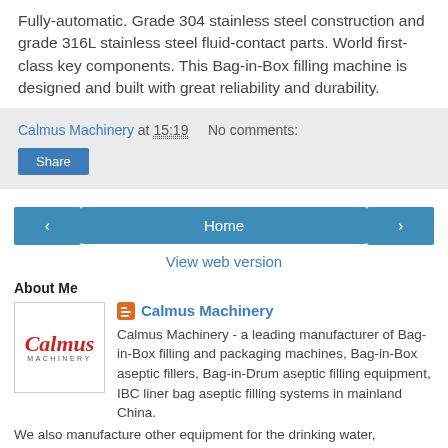Fully-automatic. Grade 304 stainless steel construction and grade 316L stainless steel fluid-contact parts. World first-class key components. This Bag-in-Box filling machine is designed and built with great reliability and durability.
Calmus Machinery at 15:19    No comments:
Share
‹    Home    ›
View web version
About Me
[Figure (logo): Calmus Machinery logo: red italic cursive 'Calmus' text with 'MACHINERY' in small caps below, inside a white bordered box.]
Calmus Machinery
Calmus Machinery - a leading manufacturer of Bag-in-Box filling and packaging machines, Bag-in-Box aseptic fillers, Bag-in-Drum aseptic filling equipment, IBC liner bag aseptic filling systems in mainland China. We also manufacture other equipment for the drinking water,